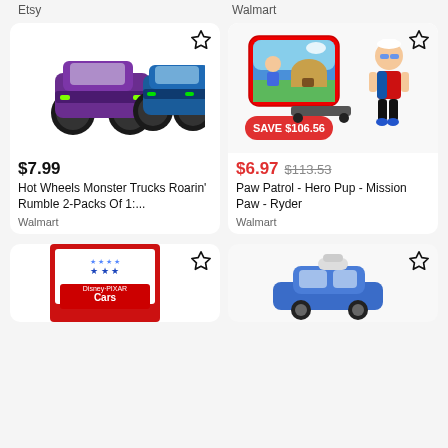Etsy
Walmart
[Figure (photo): Hot Wheels Monster Trucks product image showing two monster trucks]
$7.99
Hot Wheels Monster Trucks Roarin' Rumble 2-Packs Of 1:...
Walmart
[Figure (photo): Paw Patrol Hero Pup Mission Paw Ryder figure set with accessories and SAVE $106.56 badge]
$6.97  $113.53
Paw Patrol - Hero Pup - Mission Paw - Ryder
Walmart
[Figure (photo): Disney Pixar Cars toy in packaging, partially visible at bottom]
[Figure (photo): Blue toy car partially visible at bottom right]